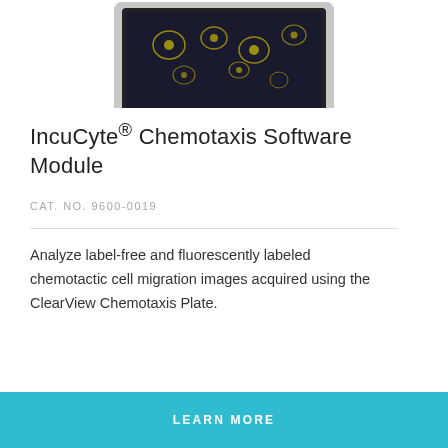[Figure (photo): Laptop computer showing microscopy images of cells on screen, partially cropped at top of card]
IncuCyte® Chemotaxis Software Module
CAT. NO. 9600-0019
Analyze label-free and fluorescently labeled chemotactic cell migration images acquired using the ClearView Chemotaxis Plate.
LEARN MORE